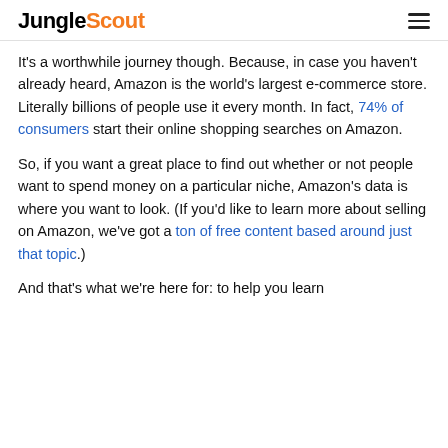JungleScout
It's a worthwhile journey though. Because, in case you haven't already heard, Amazon is the world's largest e-commerce store. Literally billions of people use it every month. In fact, 74% of consumers start their online shopping searches on Amazon.
So, if you want a great place to find out whether or not people want to spend money on a particular niche, Amazon's data is where you want to look. (If you'd like to learn more about selling on Amazon, we've got a ton of free content based around just that topic.)
And that's what we're here for: to help you learn